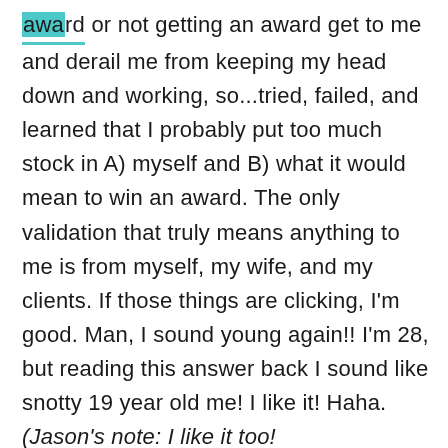award or not getting an award get to me and derail me from keeping my head down and working, so...tried, failed, and learned that I probably put too much stock in A) myself and B) what it would mean to win an award. The only validation that truly means anything to me is from myself, my wife, and my clients. If those things are clicking, I'm good. Man, I sound young again!! I'm 28, but reading this answer back I sound like snotty 19 year old me! I like it! Haha. (Jason's note: I like it too!